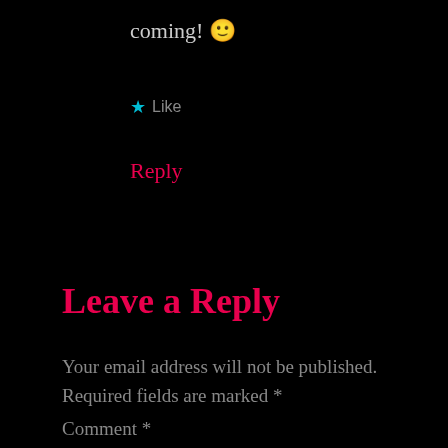coming! 🙂
★ Like
Reply
Leave a Reply
Your email address will not be published. Required fields are marked *
Comment *